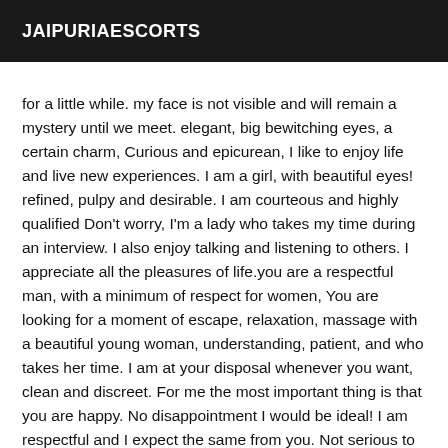JAIPURIAESCORTS
for a little while. my face is not visible and will remain a mystery until we meet. elegant, big bewitching eyes, a certain charm, Curious and epicurean, I like to enjoy life and live new experiences. I am a girl, with beautiful eyes! refined, pulpy and desirable. I am courteous and highly qualified Don't worry, I'm a lady who takes my time during an interview. I also enjoy talking and listening to others. I appreciate all the pleasures of life.you are a respectful man, with a minimum of respect for women, You are looking for a moment of escape, relaxation, massage with a beautiful young woman, understanding, patient, and who takes her time. I am at your disposal whenever you want, clean and discreet. For me the most important thing is that you are happy. No disappointment I would be ideal! I am respectful and I expect the same from you. Not serious to abstain, Photo very real and recent.